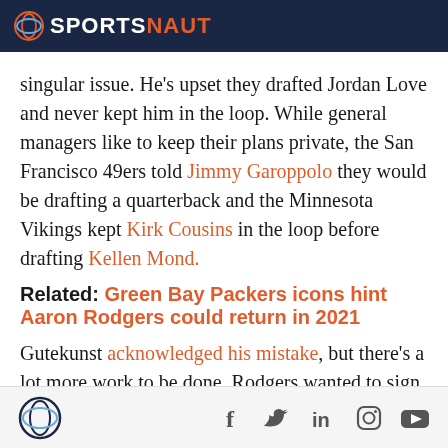SPORTSNAUT
singular issue. He’s upset they drafted Jordan Love and never kept him in the loop. While general managers like to keep their plans private, the San Francisco 49ers told Jimmy Garoppolo they would be drafting a quarterback and the Minnesota Vikings kept Kirk Cousins in the loop before drafting Kellen Mond.
Related: Green Bay Packers icons hint Aaron Rodgers could return in 2021
Gutekunst acknowledged his mistake, but there’s a lot more work to be done. Rodgers wanted to sign a
Sportsnaut footer with social icons: Facebook, Twitter, LinkedIn, Instagram, YouTube